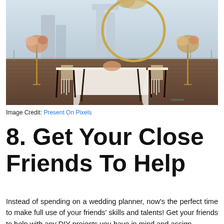[Figure (photo): A rooftop wedding setup with a circular golden arch decorated with pampas grass and flowers, two chairs with a draped white linen table, floral arrangements on tall gold stands, and a city skyline with towers visible in the foggy background. Watermark 'hitched' visible in bottom right corner.]
Image Credit: Present On Pixels
8. Get Your Close Friends To Help
Instead of spending on a wedding planner, now's the perfect time to make full use of your friends' skills and talents! Get your friends to help with any DIY projects you have in mind and assign